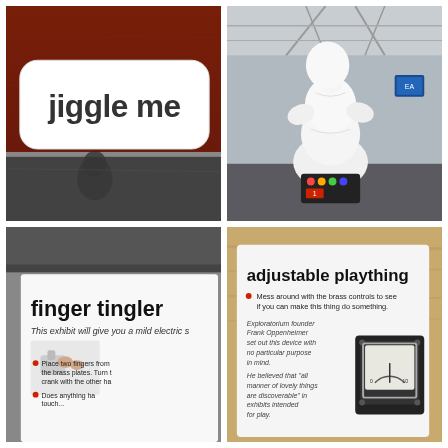[Figure (photo): Museum exhibit sign reading 'jiggle me' in bold dark sans-serif text on a white rounded rectangle, mounted on a dark reddish-brown wooden surface. A person's reflection is visible in a glass panel below.]
[Figure (photo): A white rounded abstract humanoid sculpture or robot figure (ASIMO-like) against a museum/exhibition hall background with metal truss structure. A small control panel with colored buttons is visible at the base.]
[Figure (photo): Museum exhibit sign for 'finger tingler' with subtitle 'This exhibit will give you a mild electric s[hock]'. Has a red bullet point: 'Place two fingers from the brass plates. Turn [crank] with the other ha[nd].' Another red bullet: 'Does anything ha[ppen when you] touch...'. An illustration of hands interacting with the device is shown.]
[Figure (photo): Museum exhibit sign for 'adjustable plaything' with red bullet: 'Mess around with the brass controls to see if you can make this thing do something.' Explanatory text reads: 'Exploratorium founder Frank Oppenheimer set out this device with no particular purpose in mind. He believed that "all manner of lovely things are discoverable" in exhibits intended for play.' A mechanical gauge/meter device is mounted on the right side of the sign.]